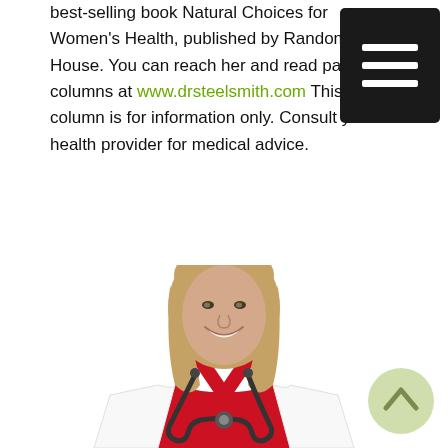best-selling book Natural Choices for Women's Health, published by Random House. You can reach her and read past columns at www.drsteelsmith.com This column is for information only. Consult your health provider for medical advice.
[Figure (photo): A smiling female doctor with shoulder-length blonde hair, wearing a white lab coat over a red top, with a stethoscope around her neck, photographed against a white background.]